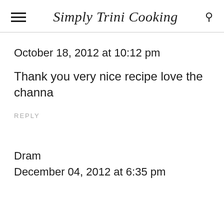Simply Trini Cooking
October 18, 2012 at 10:12 pm
Thank you very nice recipe love the channa
REPLY
Dram
December 04, 2012 at 6:35 pm